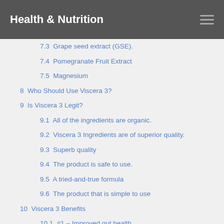Health & Nutrition
7.3  Grape seed extract (GSE).
7.4  Pomegranate Fruit Extract
7.5  Magnesium
8  Who Should Use Viscera 3?
9  Is Viscera 3 Legit?
9.1  All of the ingredients are organic.
9.2  Viscera 3 Ingredients are of superior quality.
9.3  Superb quality
9.4  The product is safe to use.
9.5  A tried-and-true formula
9.6  The product that is simple to use
10  Viscera 3 Benefits
10.1  #1 – Improved gut health
10.2  #2 – Repairs a leaking gut
10.3  #3- Gets rid of achy bowels
10.4  #4 – Aids in the reduction of belly fat
11  Viscera 3 Side Effects
12  Viscera 3 Pros and Cons